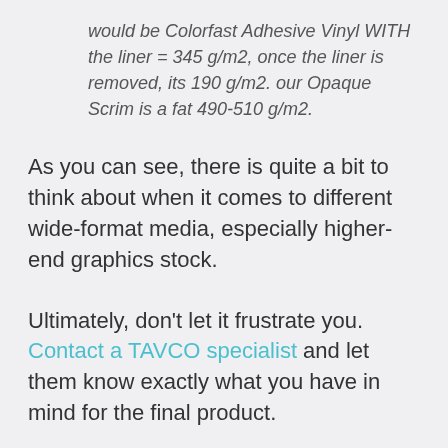would be Colorfast Adhesive Vinyl WITH the liner = 345 g/m2, once the liner is removed, its 190 g/m2. our Opaque Scrim is a fat 490-510 g/m2.
As you can see, there is quite a bit to think about when it comes to different wide-format media, especially higher-end graphics stock.
Ultimately, don't let it frustrate you. Contact a TAVCO specialist and let them know exactly what you have in mind for the final product.